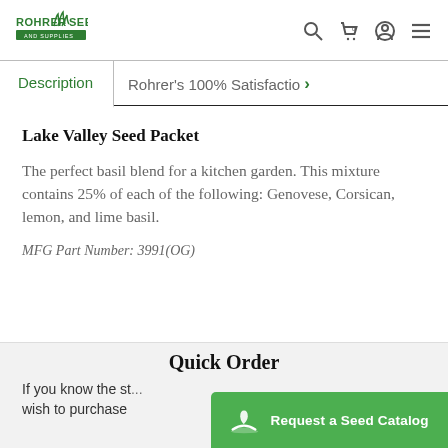Rohrer Seeds — navigation header with logo, search, cart, account, and menu icons
Description | Rohrer's 100% Satisfactio >
Lake Valley Seed Packet
The perfect basil blend for a kitchen garden. This mixture contains 25% of each of the following: Genovese, Corsican, lemon, and lime basil.
MFG Part Number: 3991(OG)
Quick Order
If you know the st wish to purchase
[Figure (other): Request a Seed Catalog green button with seedling icon]